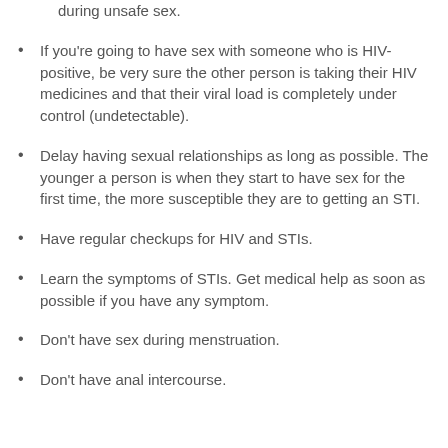during unsafe sex.
If you're going to have sex with someone who is HIV-positive, be very sure the other person is taking their HIV medicines and that their viral load is completely under control (undetectable).
Delay having sexual relationships as long as possible. The younger a person is when they start to have sex for the first time, the more susceptible they are to getting an STI.
Have regular checkups for HIV and STIs.
Learn the symptoms of STIs. Get medical help as soon as possible if you have any symptom.
Don't have sex during menstruation.
Don't have anal intercourse.